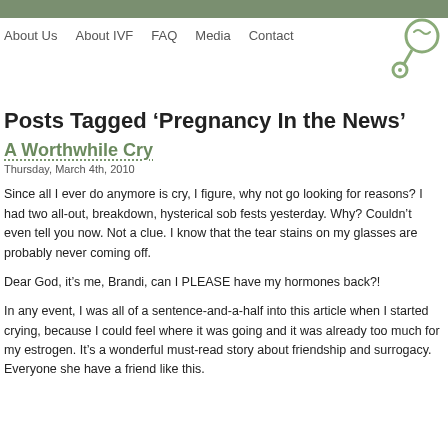About Us   About IVF   FAQ   Media   Contact
Posts Tagged ‘Pregnancy In the News’
A Worthwhile Cry
Thursday, March 4th, 2010
Since all I ever do anymore is cry, I figure, why not go looking for reasons? I had two all-out, breakdown, hysterical sob fests yesterday. Why? Couldn’t even tell you now. Not a clue. I know that the tear stains on my glasses are probably never coming off.
Dear God, it’s me, Brandi, can I PLEASE have my hormones back?!
In any event, I was all of a sentence-and-a-half into this article when I started crying, because I could feel where it was going and it was already too much for my estrogen. It’s a wonderful must-read story about friendship and surrogacy. Everyone she have a friend like this.